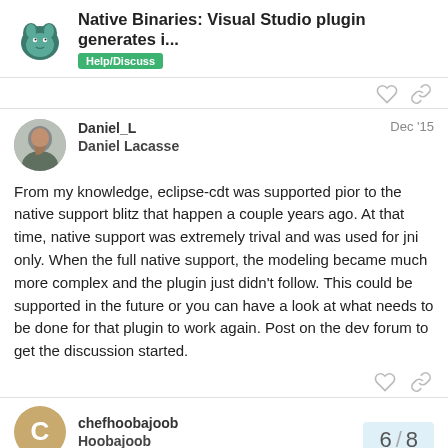Native Binaries: Visual Studio plugin generates i... | Help/Discuss
Daniel_L
Daniel Lacasse
Dec '15
From my knowledge, eclipse-cdt was supported pior to the native support blitz that happen a couple years ago. At that time, native support was extremely trival and was used for jni only. When the full native support, the modeling became much more complex and the plugin just didn't follow. This could be supported in the future or you can have a look at what needs to be done for that plugin to work again. Post on the dev forum to get the discussion started.
chefhoobajoob
Hoobajoob
Dec '15
6 / 8